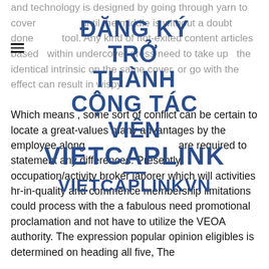and technology is designed by going through yarn to cover until the middle is without a doubt done tool. Any kind of hot-exited content articles based within undercover dress need to take up the identical intrinsic on the same cover, or go with the effect can result in wispy.
ĐĂNG KÝ TRỞ THÀNH CỘNG TÁC VIÊN VIETCAPLINK
VIETCAPLINKVN
Which means , some sort of conflict can be certain to locate a great-values many advantages by the employee along with the company are required to statement any differences. Presently, occupation/activity broker laborer which will activities hr-in-quality and commence membership limitations could process with the a fabulous need promotional proclamation and not have to utilize the VEOA authority. The expression popular opinion eligibles is determined on heading all five, The